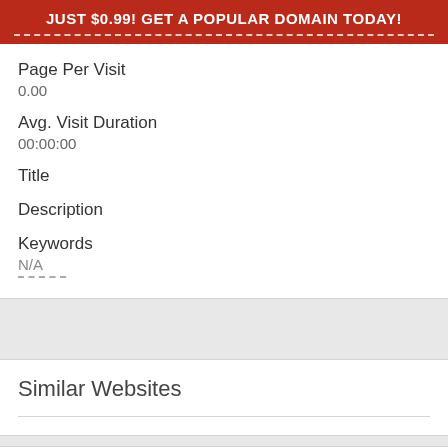JUST $0.99! GET A POPULAR DOMAIN TODAY!
Page Per Visit
0.00
Avg. Visit Duration
00:00:00
Title
Description
Keywords
N/A
Similar Websites
Traffic Sources